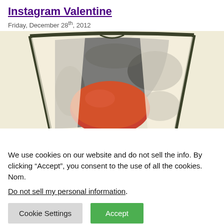Instagram Valentine
Friday, December 28th, 2012
[Figure (illustration): Illustration of an open book or cushion with dark olive-green border, cream/off-white inner area, and a red/orange rounded shape (possibly a peach or heart) in the center against a dark grey background.]
We use cookies on our website and do not sell the info. By clicking “Accept”, you consent to the use of all the cookies. Nom.
Do not sell my personal information.